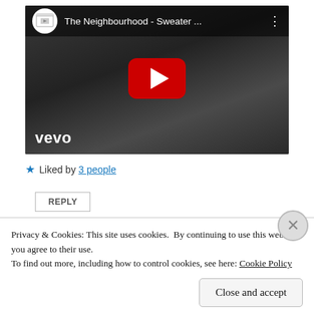[Figure (screenshot): YouTube video thumbnail for 'The Neighbourhood - Sweater ...' with a black and white photo of a young man, YouTube play button overlay, and vevo watermark in the bottom left. The video top bar shows the YouTube logo, video title, and a three-dot menu icon.]
★ Liked by 3 people
REPLY
Privacy & Cookies: This site uses cookies. By continuing to use this website, you agree to their use.
To find out more, including how to control cookies, see here: Cookie Policy
Close and accept